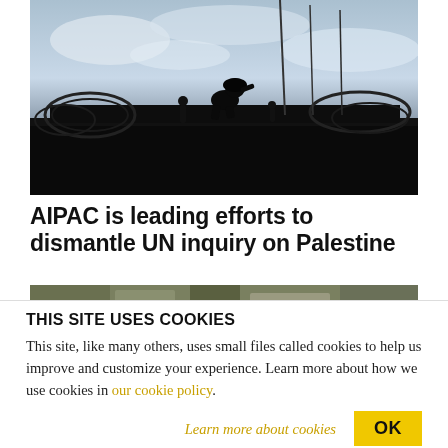[Figure (photo): Silhouette of a soldier crouching on top of a structure with barbed wire coils against a cloudy sky background]
AIPAC is leading efforts to dismantle UN inquiry on Palestine
[Figure (photo): Partial view of a second news article photo showing an outdoor scene, partially obscured by cookie notice]
THIS SITE USES COOKIES
This site, like many others, uses small files called cookies to help us improve and customize your experience. Learn more about how we use cookies in our cookie policy.
Learn more about cookies
OK